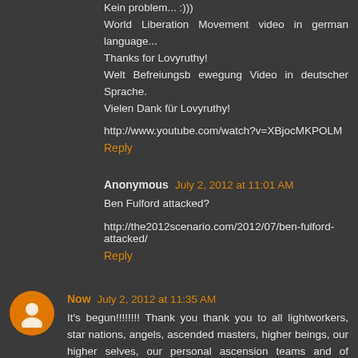Kein problem... :)))
World Liberation Movement video in german language...
Thanks for Lovyruthy!
Welt Befreiungsb ewegung Video in deutscher Sprache.
Vielen Dank für Lovyruthy!

http://www.youtube.com/watch?v=XBjocMKPOLM
Reply
Anonymous  July 2, 2012 at 11:01 AM
Ben Fulford attacked?

http://the2012scenario.com/2012/07/ben-fulford-attacked/
Reply
Now  July 2, 2012 at 11:35 AM
It's begun!!!!!!!! Thank you thank you to all lightworkers, star nations, angels, ascended masters, higher beings, our higher selves, our personal ascension teams and of course